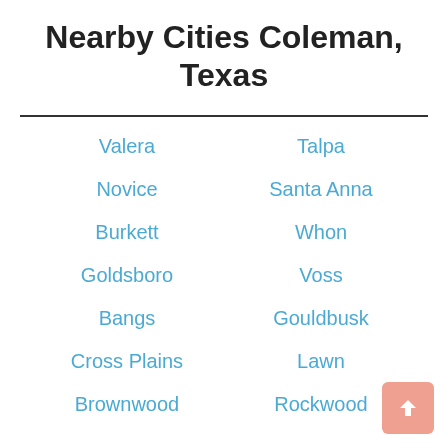Nearby Cities Coleman, Texas
Valera
Talpa
Novice
Santa Anna
Burkett
Whon
Goldsboro
Voss
Bangs
Gouldbusk
Cross Plains
Lawn
Brownwood
Rockwood